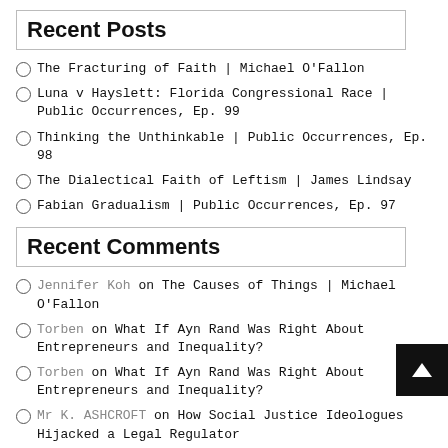Recent Posts
The Fracturing of Faith | Michael O'Fallon
Luna v Hayslett: Florida Congressional Race | Public Occurrences, Ep. 99
Thinking the Unthinkable | Public Occurrences, Ep. 98
The Dialectical Faith of Leftism | James Lindsay
Fabian Gradualism | Public Occurrences, Ep. 97
Recent Comments
Jennifer Koh on The Causes of Things | Michael O'Fallon
Torben on What If Ayn Rand Was Right About Entrepreneurs and Inequality?
Torben on What If Ayn Rand Was Right About Entrepreneurs and Inequality?
Mr K. ASHCROFT on How Social Justice Ideologues Hijacked a Legal Regulator